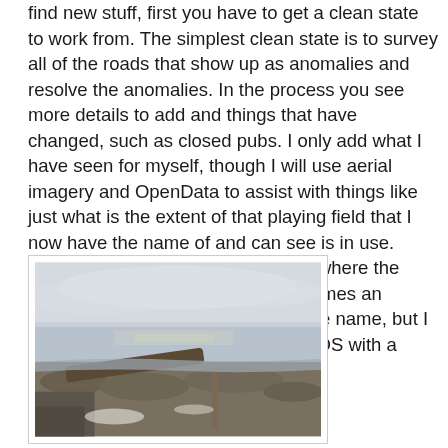find new stuff, first you have to get a clean state to work from. The simplest clean state is to survey all of the roads that show up as anomalies and resolve the anomalies. In the process you see more details to add and things that have changed, such as closed pubs. I only add what I have seen for myself, though I will use aerial imagery and OpenData to assist with things like just what is the extent of that playing field that I now have the name of and can see is in use. Using OS Locator names for roads where the name board is not present is sometimes an exception, in that I have not seen the name, but I use it anyway. I do of course credit OS with a source:name tag.
[Figure (photo): Coastal scene showing a rocky shoreline with a log or timber in the foreground, calm sea water and overcast sky in the background.]